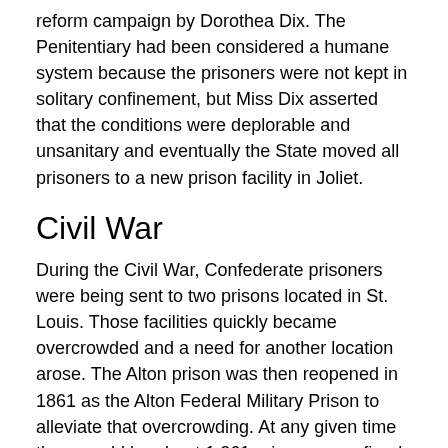reform campaign by Dorothea Dix. The Penitentiary had been considered a humane system because the prisoners were not kept in solitary confinement, but Miss Dix asserted that the conditions were deplorable and unsanitary and eventually the State moved all prisoners to a new prison facility in Joliet.
Civil War
During the Civil War, Confederate prisoners were being sent to two prisons located in St. Louis. Those facilities quickly became overcrowded and a need for another location arose. The Alton prison was then reopened in 1861 as the Alton Federal Military Prison to alleviate that overcrowding. At any given time there could be about 1,261 prisoners confined there and during the course of the three years that the Confederate Prison was opened, over 11,764 Confederate prisoners were incarcerated there.